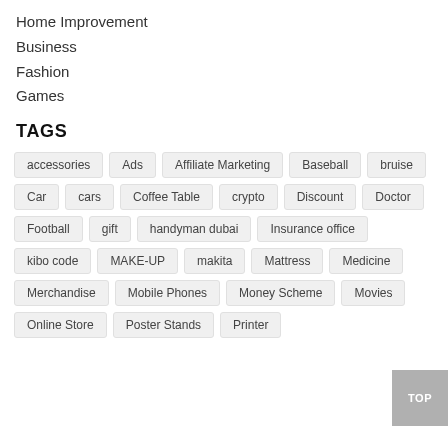Home Improvement
Business
Fashion
Games
TAGS
accessories
Ads
Affiliate Marketing
Baseball
bruise
Car
cars
Coffee Table
crypto
Discount
Doctor
Football
gift
handyman dubai
Insurance office
kibo code
MAKE-UP
makita
Mattress
Medicine
Merchandise
Mobile Phones
Money Scheme
Movies
Online Store
Poster Stands
Printer